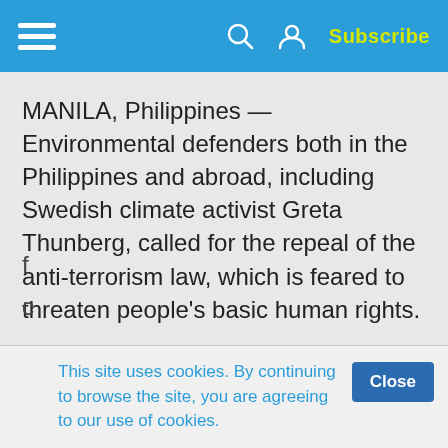Subscribe
MANILA, Philippines — Environmental defenders both in the Philippines and abroad, including Swedish climate activist Greta Thunberg, called for the repeal of the anti-terrorism law, which is feared to threaten people's basic human rights.
In a global petition launched Wednesday, environment and climate activists said the contentious legislation threatens the work of indigenous peoples, small farmers, artisanal fishers,
This site uses cookies. By continuing to browse the site, you are agreeing to our use of cookies.